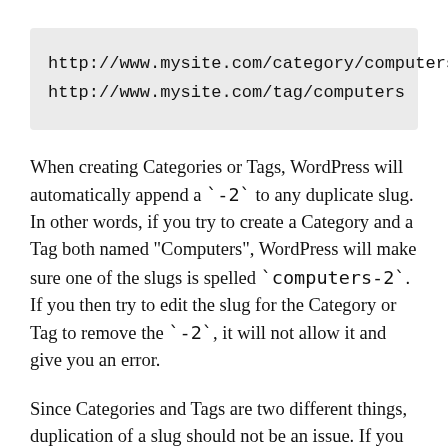http://www.mysite.com/category/computers
http://www.mysite.com/tag/computers
When creating Categories or Tags, WordPress will automatically append a `-2` to any duplicate slug. In other words, if you try to create a Category and a Tag both named "Computers", WordPress will make sure one of the slugs is spelled `computers-2`. If you then try to edit the slug for the Category or Tag to remove the `-2`, it will not allow it and give you an error.
Since Categories and Tags are two different things, duplication of a slug should not be an issue. If you Google search "wordpress category and tag slug", you will find a lot of complaining going back a very long time, and a lot of closed support threads at wordpress.org without any